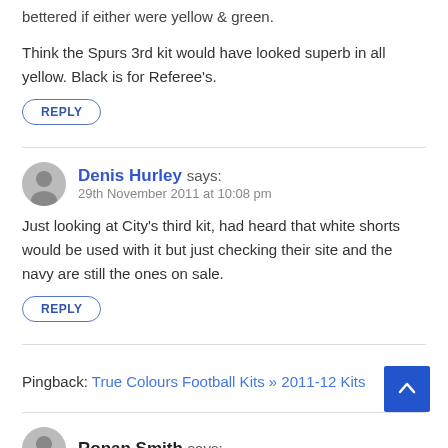bettered if either were yellow & green.
Think the Spurs 3rd kit would have looked superb in all yellow. Black is for Referee's.
REPLY
Denis Hurley says:
29th November 2011 at 10:08 pm
Just looking at City's third kit, had heard that white shorts would be used with it but just checking their site and the navy are still the ones on sale.
REPLY
Pingback: True Colours Football Kits » 2011-12 Kits
Ronan Smith says: